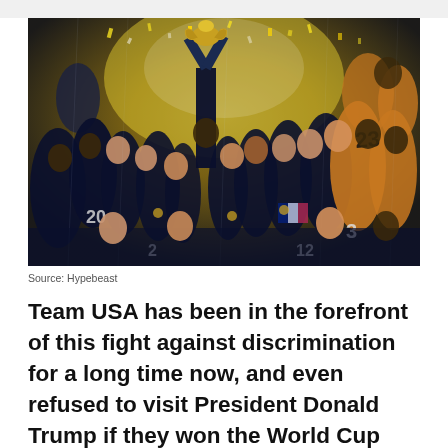[Figure (photo): France national football team celebrating winning the World Cup, players holding up the trophy, wearing blue and yellow jerseys with numbers visible including 23, 20, 3, 2]
Source: Hypebeast
Team USA has been in the forefront of this fight against discrimination for a long time now, and even refused to visit President Donald Trump if they won the World Cup and were invited to the White